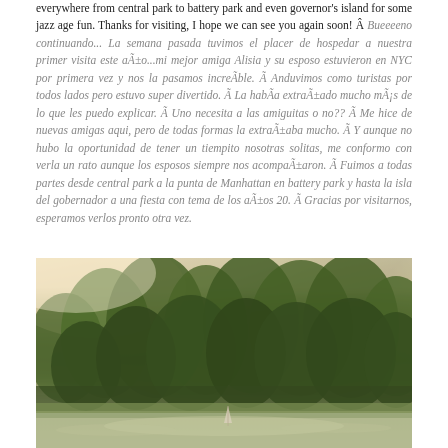everywhere from central park to battery park and even governor's island for some jazz age fun. Thanks for visiting, I hope we can see you again soon! Â  Bueeeeno continuando... La semana pasada tuvimos el placer de hospedar a nuestra primer visita este año...mi mejor amiga Alisia y su esposo estuvieron en NYC por primera vez y nos la pasamos increíble. Â Anduvimos como turistas por todos lados pero estuvo super divertido. Â La habÃa extrañado mucho más de lo que les puedo explicar. Â Uno necesita a las amiguitas o no?? Â Me hice de nuevas amigas aqui, pero de todas formas la extrañaba mucho. Â Y aunque no hubo la oportunidad de tener un tiempito nosotras solitas, me conformo con verla un rato aunque los esposos siempre nos acompañaron. Â Fuimos a todas partes desde central park a la punta de Manhattan en battery park y hasta la isla del gobernador a una fiesta con tema de los años 20. Â Gracias por visitarnos, esperamos verlos pronto otra vez.
[Figure (photo): Outdoor park scene with trees and a body of water, taken with a warm vintage/film filter. Shows a pond or lake with lush green trees in the background, likely Central Park in New York City. The image has a faded, warm-toned nostalgic quality.]